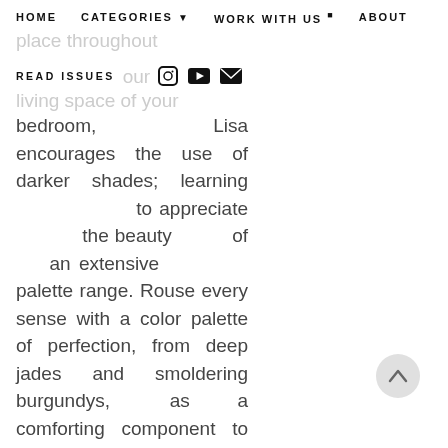HOME    CATEGORIES ▾    WORK WITH US ⊞    ABOUT
READ ISSUES
bedroom, Lisa encourages the use of darker shades; learning to appreciate the beauty of an extensive palette range. Rouse every sense with a color palette of perfection, from deep jades and smoldering burgundys, as a comforting component to your home. Achieving a welcoming space